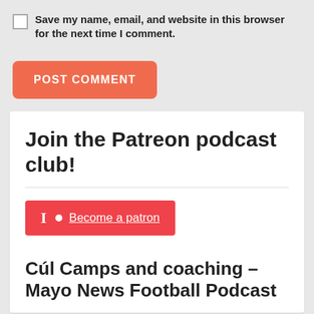Save my name, email, and website in this browser for the next time I comment.
[Figure (other): POST COMMENT button — orange/salmon rounded rectangle with white bold uppercase text]
Join the Patreon podcast club!
[Figure (other): Patreon red button with Patreon logo and 'Become a patron' underlined link text]
Cúl Camps and coaching – Mayo News Football Podcast